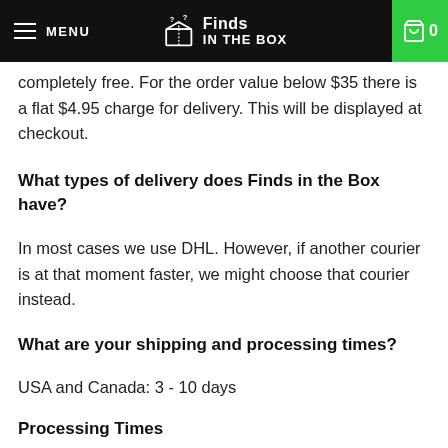MENU | Finds IN THE BOX | 0
completely free. For the order value below $35 there is a flat $4.95 charge for delivery. This will be displayed at checkout.
What types of delivery does Finds in the Box have?
In most cases we use DHL. However, if another courier is at that moment faster, we might choose that courier instead.
What are your shipping and processing times?
USA and Canada: 3 - 10 days
Processing Times